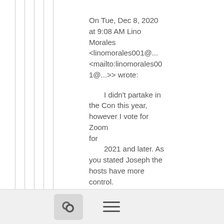On Tue, Dec 8, 2020 at 9:08 AM Lino Morales <linomorales001@... <mailto:linomorales001@...>> wrote:
I didn't partake in the Con this year, however I vote for Zoom for 2021 and later. As you stated Joseph the hosts have more control. I'm been crowing about getting Zoom